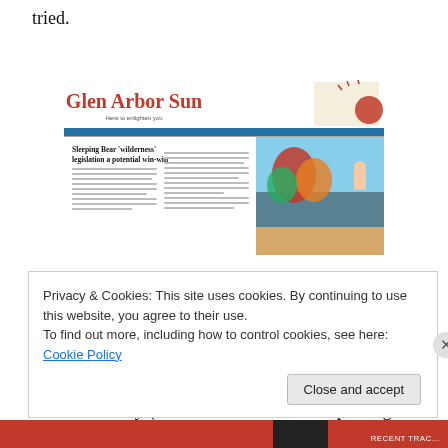tried.
[Figure (screenshot): Screenshot of the Glen Arbor Sun newspaper front page, showing the masthead 'Glen Arbor Sun' in red with tagline, and an article headline 'Sleeping Bear Wilderness legislation a potential win-win' with a colorful illustration on the right side.]
What I got instead was a Matthies press kit, which is cool—I suppose, in some bizarre alternative universe, I'm a member of the press.  But I really don't hold interviews like that.  I like to sit with the subject, get down and dirty (even if half of it winds up being off-the-record), watch reactions,
Privacy & Cookies: This site uses cookies. By continuing to use this website, you agree to their use.
To find out more, including how to control cookies, see here: Cookie Policy